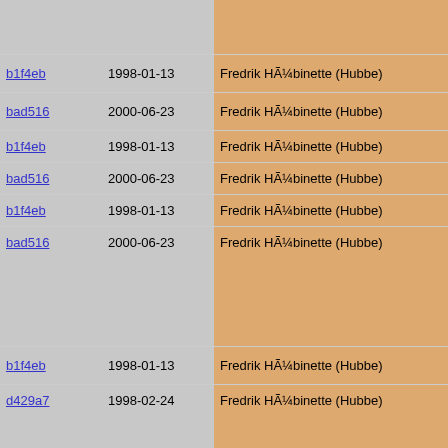| hash | date | author | code |
| --- | --- | --- | --- |
|  |  |  | state-
    tmp=re |
| b1f4eb | 1998-01-13 | Fredrik HÃ¼binette (Hubbe) |  |
| bad516 | 2000-06-23 | Fredrik HÃ¼binette (Hubbe) |  |
| b1f4eb | 1998-01-13 | Fredrik HÃ¼binette (Hubbe) | if(!tm |
| bad516 | 2000-06-23 | Fredrik HÃ¼binette (Hubbe) | state- |
| b1f4eb | 1998-01-13 | Fredrik HÃ¼binette (Hubbe) | } |
| bad516 | 2000-06-23 | Fredrik HÃ¼binette (Hubbe) | state->n
    NAME[s
}
void PIKE_
    CHECK_FO
    PIKE_CON |
| b1f4eb | 1998-01-13 | Fredrik HÃ¼binette (Hubbe) | } |
| d429a7 | 1998-02-24 | Fredrik HÃ¼binette (Hubbe) | #include " |
| b1f4eb | 1998-01-13 | Fredrik HÃ¼binette (Hubbe) | void ins_i
{
    int e; |
| 573ba4 | 2001-04-11 | Henrik GrubbstrÃ¶m (Grubba) | unsigned |